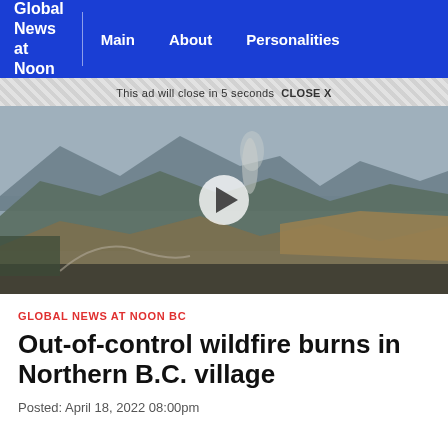Global News at Noon | Main | About | Personalities
This ad will close in 5 seconds CLOSE X
[Figure (photo): Aerial video thumbnail of a wildfire burning in a hillside landscape in Northern B.C., showing smoke rising from forested hills with mountains in the background. A white play button is centered on the image.]
GLOBAL NEWS AT NOON BC
Out-of-control wildfire burns in Northern B.C. village
Posted: April 18, 2022 08:00pm